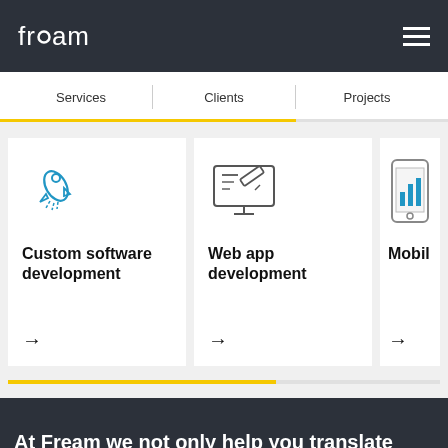fream (logo) | hamburger menu
Services | Clients | Projects
[Figure (illustration): Rocket icon for Custom software development card]
Custom software development
[Figure (illustration): Monitor/web design icon for Web app development card]
Web app development
[Figure (illustration): Mobile phone icon for Mobile development card]
Mobile develo...
At Fream we not only help you translate